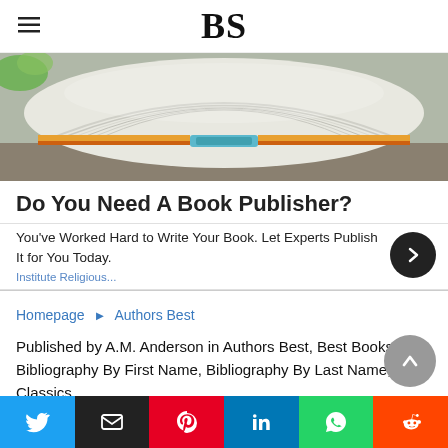BS
[Figure (photo): Close-up of an open book with fanned pages, colorful spine visible at bottom, lying on a surface]
Do You Need A Book Publisher?
You've Worked Hard to Write Your Book. Let Experts Publish It for You Today.
Institute Religious...
Homepage ► Authors Best
Published by A.M. Anderson in Authors Best, Best Books, Bibliography By First Name, Bibliography By Last Name, Classics,